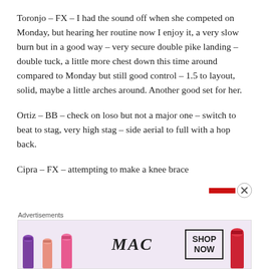Toronjo – FX – I had the sound off when she competed on Monday, but hearing her routine now I enjoy it, a very slow burn but in a good way – very secure double pike landing – double tuck, a little more chest down this time around compared to Monday but still good control – 1.5 to layout, solid, maybe a little arches around. Another good set for her.
Ortiz – BB – check on loso but not a major one – switch to beat to stag, very high stag – side aerial to full with a hop back.
Cipra – FX – attempting to make a knee brace
Advertisements
[Figure (photo): MAC cosmetics advertisement banner showing lipsticks, MAC logo in italic script, and a SHOP NOW button box, with a close (X) button overlay]